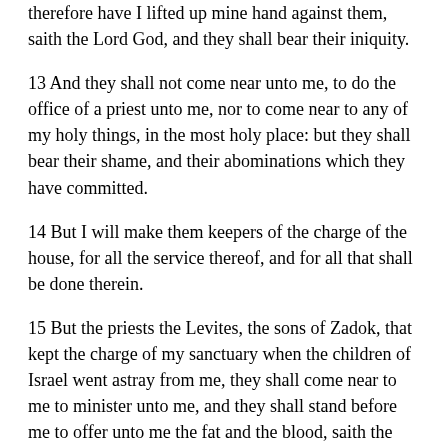therefore have I lifted up mine hand against them, saith the Lord God, and they shall bear their iniquity.
13 And they shall not come near unto me, to do the office of a priest unto me, nor to come near to any of my holy things, in the most holy place: but they shall bear their shame, and their abominations which they have committed.
14 But I will make them keepers of the charge of the house, for all the service thereof, and for all that shall be done therein.
15 But the priests the Levites, the sons of Zadok, that kept the charge of my sanctuary when the children of Israel went astray from me, they shall come near to me to minister unto me, and they shall stand before me to offer unto me the fat and the blood, saith the Lord God: